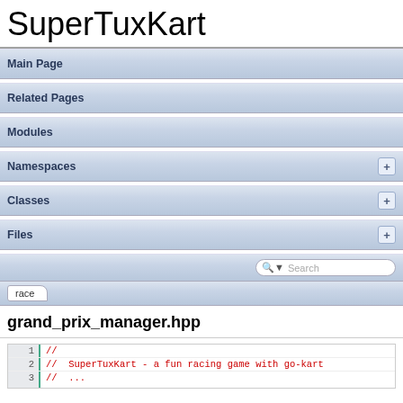SuperTuxKart
Main Page
Related Pages
Modules
Namespaces
Classes
Files
Search
race
grand_prix_manager.hpp
1  //
2  //  SuperTuxKart - a fun racing game with go-kart
3  ...